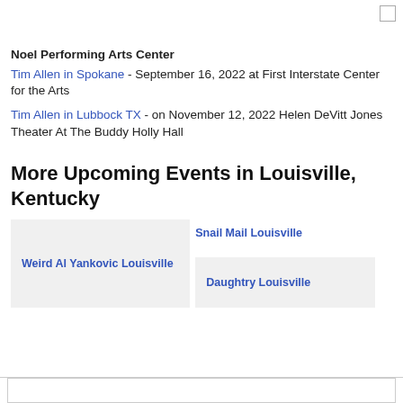Noel Performing Arts Center
Tim Allen in Spokane - September 16, 2022 at First Interstate Center for the Arts
Tim Allen in Lubbock TX - on November 12, 2022 Helen DeVitt Jones Theater At The Buddy Holly Hall
More Upcoming Events in Louisville, Kentucky
Weird Al Yankovic Louisville
Snail Mail Louisville
Daughtry Louisville